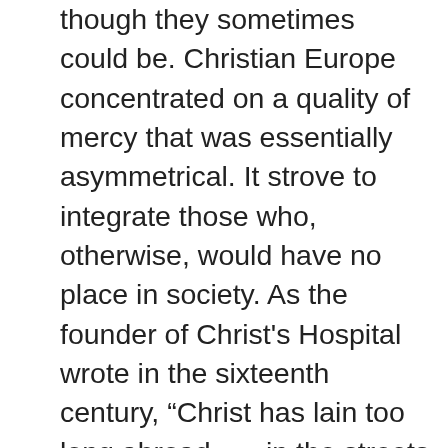though they sometimes could be. Christian Europe concentrated on a quality of mercy that was essentially asymmetrical. It strove to integrate those who, otherwise, would have no place in society. As the founder of Christ's Hospital wrote in the sixteenth century, “Christ has lain too long abroad . . . in the streets of London.” To him, those deserving of mercy were “lesser folk,” and those who “raised them up” were “like a God.” In Catholic countries, much charity was “redemptive,” directed to tainted groups who might yet come to be absorbed more fully into the Christian fold